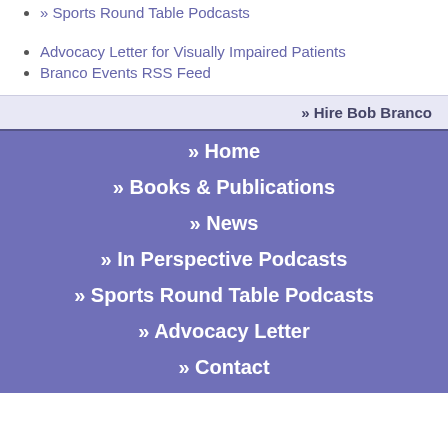» Sports Round Table Podcasts
Advocacy Letter for Visually Impaired Patients
Branco Events RSS Feed
» Hire Bob Branco
» Home
» Books & Publications
» News
» In Perspective Podcasts
» Sports Round Table Podcasts
» Advocacy Letter
» Contact